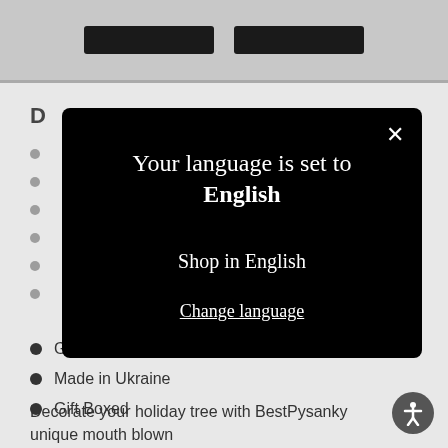[Figure (screenshot): Two dark navigation/action buttons partially visible at top of page against gray background]
D
Glittered Accents
Made in Ukraine
Gift Boxed
Decorate your holiday tree with BestPysanky unique mouth blown
[Figure (screenshot): Modal dialog on black background. Close X button top right. Text: 'Your language is set to English'. Below: 'Shop in English'. Below: 'Change language' (underlined).]